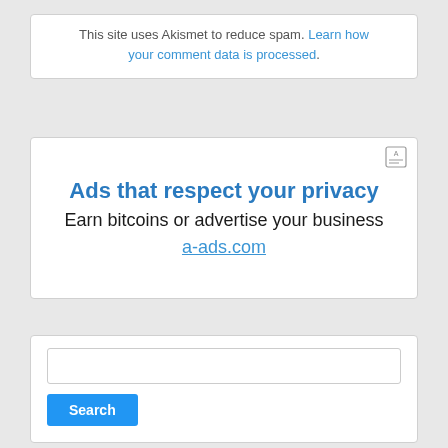This site uses Akismet to reduce spam. Learn how your comment data is processed.
[Figure (screenshot): Advertisement banner: 'Ads that respect your privacy. Earn bitcoins or advertise your business. a-ads.com']
Search input box and Search button